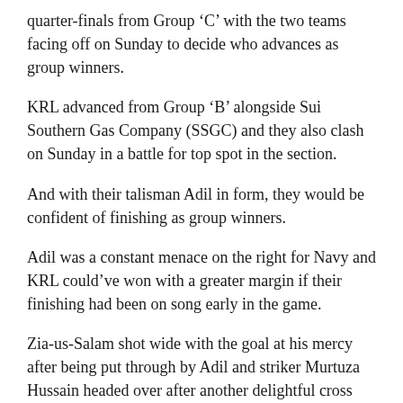quarter-finals from Group ‘C’ with the two teams facing off on Sunday to decide who advances as group winners.
KRL advanced from Group ‘B’ alongside Sui Southern Gas Company (SSGC) and they also clash on Sunday in a battle for top spot in the section.
And with their talisman Adil in form, they would be confident of finishing as group winners.
Adil was a constant menace on the right for Navy and KRL could’ve won with a greater margin if their finishing had been on song early in the game.
Zia-us-Salam shot wide with the goal at his mercy after being put through by Adil and striker Murtuza Hussain headed over after another delightful cross from Adil in the opening 25 minutes.
But Murtuza made no mistake on his second chance in the 28th